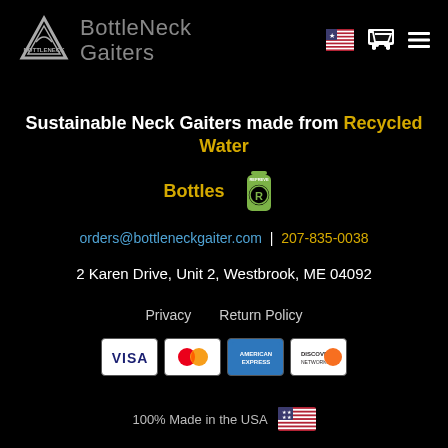BottleNeck Gaiters
Sustainable Neck Gaiters made from Recycled Water Bottles
[Figure (logo): REPREVE recycled bottle logo]
orders@bottleneckgaiter.com | 207-835-0038
2 Karen Drive, Unit 2, Westbrook, ME 04092
Privacy
Return Policy
[Figure (other): Payment method logos: VISA, Mastercard, American Express, Discover]
100% Made in the USA